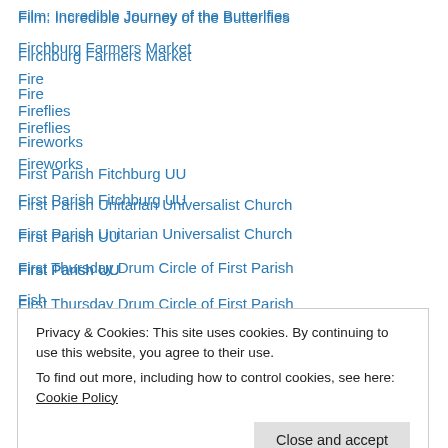Film: Incredible Journey of the Butterlfies
Firchburg Farmers Market
Fire
Fireflies
Fireworks
First Parish Fitchburg UU
First Parish Unitarian Universalist Church
First Parish UU
First Thursday Drum Circle of First Parish
Fish
Fitchburg Art Museum
Fitchburg Farmers Market
Fitchburg Historical Society
Privacy & Cookies: This site uses cookies. By continuing to use this website, you agree to their use.
To find out more, including how to control cookies, see here: Cookie Policy
Fox